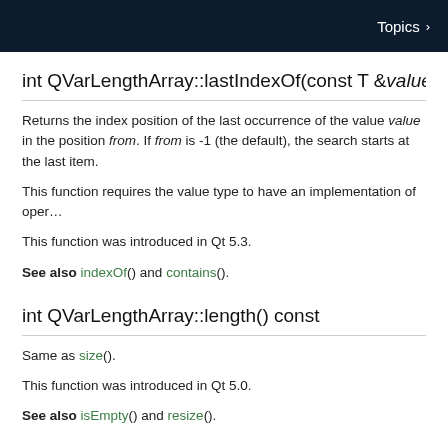Topics ›
int QVarLengthArray::lastIndexOf(const T &value, in
Returns the index position of the last occurrence of the value value in the position from. If from is -1 (the default), the search starts at the last item.
This function requires the value type to have an implementation of oper…
This function was introduced in Qt 5.3.
See also indexOf() and contains().
int QVarLengthArray::length() const
Same as size().
This function was introduced in Qt 5.0.
See also isEmpty() and resize().